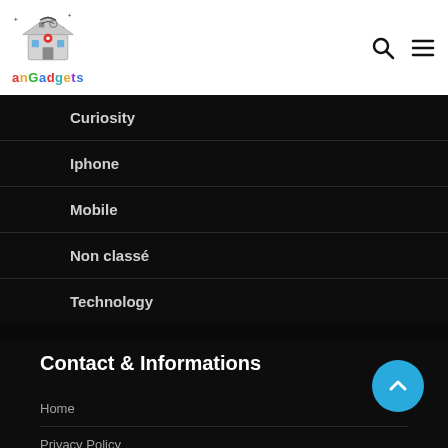[Figure (logo): onGadgets logo with house/gadget icon above colorful text 'onGadgets']
Curiosity
Iphone
Mobile
Non classé
Technology
Contact & Informations
Home
Privacy Policy